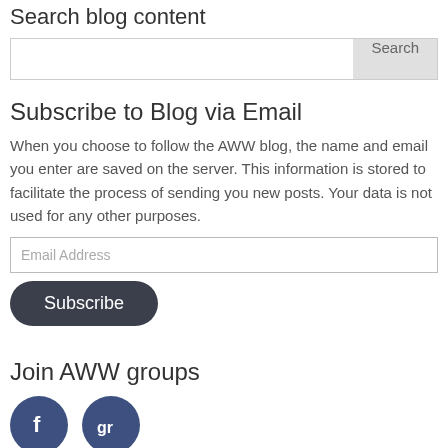Search blog content
[Figure (screenshot): Search input field with a Search button]
Subscribe to Blog via Email
When you choose to follow the AWW blog, the name and email you enter are saved on the server. This information is stored to facilitate the process of sending you new posts. Your data is not used for any other purposes.
[Figure (screenshot): Email Address input field and Subscribe button]
Join AWW groups
[Figure (infographic): Facebook and Goodreads social media circular icons]